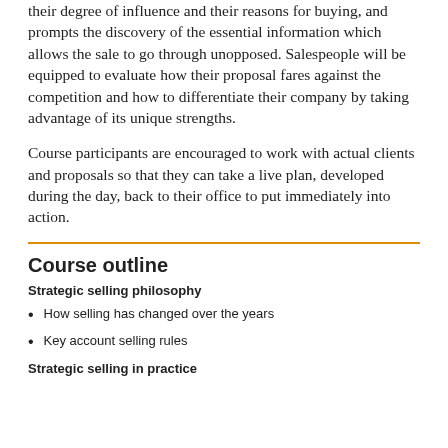their degree of influence and their reasons for buying, and prompts the discovery of the essential information which allows the sale to go through unopposed. Salespeople will be equipped to evaluate how their proposal fares against the competition and how to differentiate their company by taking advantage of its unique strengths.
Course participants are encouraged to work with actual clients and proposals so that they can take a live plan, developed during the day, back to their office to put immediately into action.
Course outline
Strategic selling philosophy
How selling has changed over the years
Key account selling rules
Strategic selling in practice